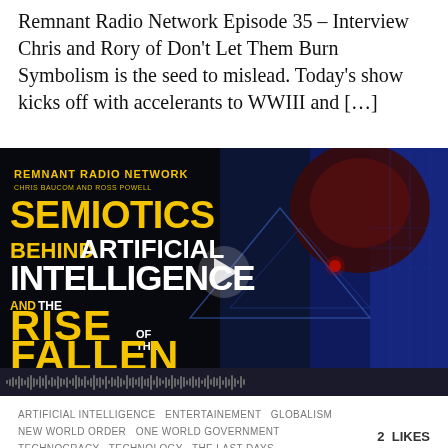Remnant Radio Network Episode 35 – Interview Chris and Rory of Don't Let Them Burn Symbolism is the seed to mislead. Today's show kicks off with accelerants to WWIII and […]
[Figure (screenshot): Video thumbnail for Remnant Radio Network episode titled 'Semiotics Behind Artificial Intelligence and the Rise of the Fallen' with Chris & Rory from Don't Let Them Burn. Dark background with blue/red sci-fi imagery, large yellow bold text, and a play button overlay with audio waveform progress bar.]
ARTIFICIAL INTELLIGENCE  ENTERTAINEMENT  GLOBALISM  NEW WORLD ORDER  ONE WORLD GOVERNMENT  TECHNOCRACY  TECHNOLOGY  THE LAST DAYS
2  LIKES